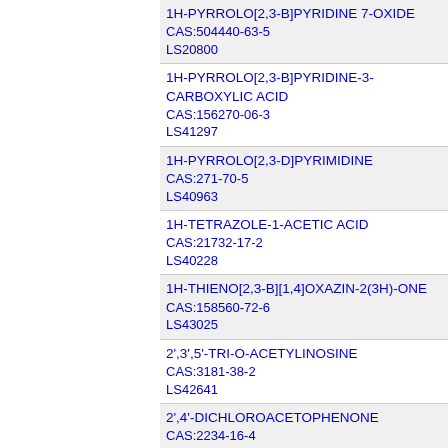1H-PYRROLO[2,3-B]PYRIDINE 7-OXIDE
CAS:504440-63-5
LS20800
1H-PYRROLO[2,3-B]PYRIDINE-3-CARBOXYLIC ACID
CAS:156270-06-3
LS41297
1H-PYRROLO[2,3-D]PYRIMIDINE
CAS:271-70-5
LS40963
1H-TETRAZOLE-1-ACETIC ACID
CAS:21732-17-2
LS40228
1H-THIENO[2,3-B][1,4]OXAZIN-2(3H)-ONE
CAS:158560-72-6
LS43025
2',3',5'-TRI-O-ACETYLINOSINE
CAS:3181-38-2
LS42641
2',4'-DICHLOROACETOPHENONE
CAS:2234-16-4
LS13360
2',4'-DICHLOROBUTYROPHENONE
CAS:66353-47-7
LS13394
2',4'-DICHLOROPROPIOPHENONE
CAS:37885-41-9
LS13393
2',4'-DICHLOROVALEROPHENONE
CAS:61023-66-3